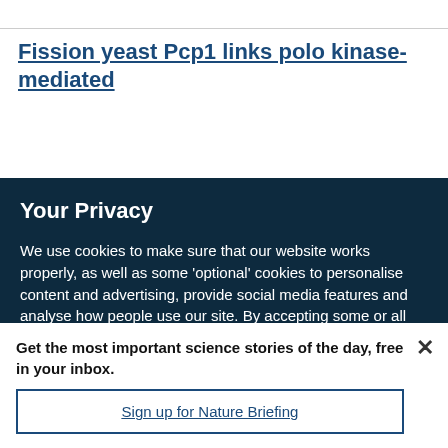Fission yeast Pcp1 links polo kinase-mediated
Your Privacy
We use cookies to make sure that our website works properly, as well as some ‘optional’ cookies to personalise content and advertising, provide social media features and analyse how people use our site. By accepting some or all optional cookies you give consent to the processing of your personal data, including transfer to third parties, some in countries outside of the European Economic Area that do not offer the same data protection standards as the country where you live. You can decide which optional cookies to accept by clicking on ‘Manage Settings’, where you can
Get the most important science stories of the day, free in your inbox.
Sign up for Nature Briefing